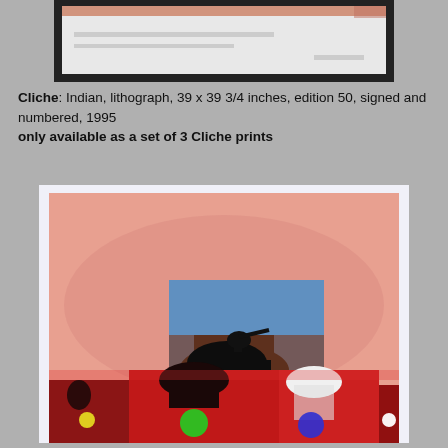[Figure (photo): Top portion of a framed artwork or print, showing a white/light area with a dark border frame, partially cropped at top.]
Cliche: Indian, lithograph, 39 x 39 3/4 inches, edition 50, signed and numbered, 1995
only available as a set of 3 Cliche prints
[Figure (photo): A lithograph artwork with a pink/salmon background showing a Native American on horseback, with smaller inset images at the bottom depicting Native Americans with headdresses and colored circular overlays (yellow, green, blue, white dots).]